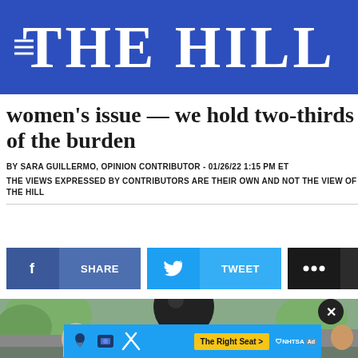THE HILL
women's issue — we hold two-thirds of the burden
BY SARA GUILLERMO, OPINION CONTRIBUTOR - 01/26/22 1:15 PM ET
THE VIEWS EXPRESSED BY CONTRIBUTORS ARE THEIR OWN AND NOT THE VIEW OF THE HILL
[Figure (other): Social share buttons: Share (Facebook), Tweet (Twitter), More]
[Figure (photo): Outdoor photo showing a large dark globe/sphere against a background of trees and buildings, with an advertisement banner overlay for NHTSA 'The Right Seat' campaign.]